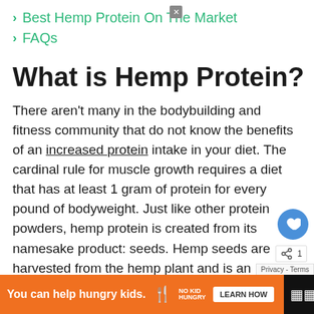Best Hemp Protein On The Market
FAQs
What is Hemp Protein?
There aren't many in the bodybuilding and fitness community that do not know the benefits of an increased protein intake in your diet. The cardinal rule for muscle growth requires a diet that has at least 1 gram of protein for every pound of bodyweight. Just like other protein powders, hemp protein is created from its namesake product: seeds. Hemp seeds are harvested from the hemp plant and is an extremely sustainable